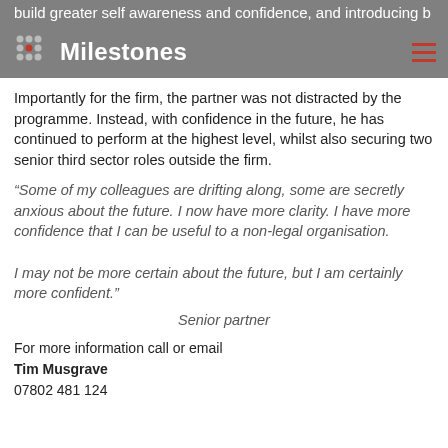build greater self awareness and confidence, and introducing better opportunities and appropriate connections. Milestones
Importantly for the firm, the partner was not distracted by the programme. Instead, with confidence in the future, he has continued to perform at the highest level, whilst also securing two senior third sector roles outside the firm.
“Some of my colleagues are drifting along, some are secretly anxious about the future. I now have more clarity. I have more confidence that I can be useful to a non-legal organisation.

I may not be more certain about the future, but I am certainly more confident.”
Senior partner
For more information call or email
Tim Musgrave
07802 481 124